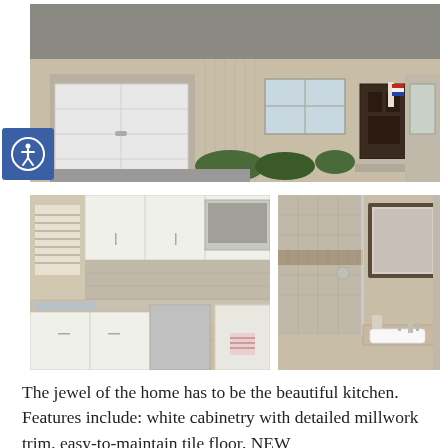[Figure (photo): Exterior front view of a single-story beige house with attached garage, white garage door, front door with American flag decoration, trimmed shrubs, and asphalt driveway.]
[Figure (photo): Kitchen interior with white cabinets, granite countertops, stainless steel sink, tile backsplash, microwave, dishwasher, and tile floor.]
[Figure (photo): Bathroom interior with walk-in tile shower, dark-framed mirror, granite vanity countertop with white undermount sink.]
The jewel of the home has to be the beautiful kitchen. Features include: white cabinetry with detailed millwork trim, easy-to-maintain tile floor, NEW